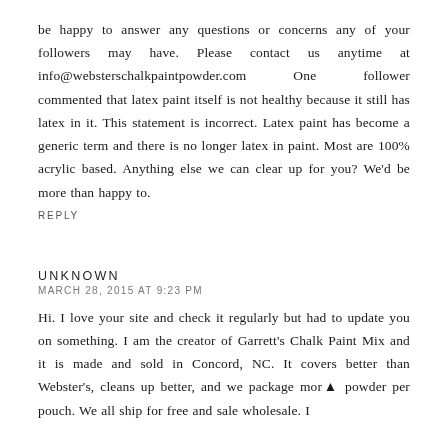be happy to answer any questions or concerns any of your followers may have. Please contact us anytime at info@websterschalkpaintpowder.com      One      follower commented that latex paint itself is not healthy because it still has latex in it. This statement is incorrect. Latex paint has become a generic term and there is no longer latex in paint. Most are 100% acrylic based. Anything else we can clear up for you? We'd be more than happy to.
REPLY
UNKNOWN
MARCH 28, 2015 AT 9:23 PM
Hi. I love your site and check it regularly but had to update you on something. I am the creator of Garrett's Chalk Paint Mix and it is made and sold in Concord, NC. It covers better than Webster's, cleans up better, and we package more powder per pouch. We all ship for free and sale wholesale. I